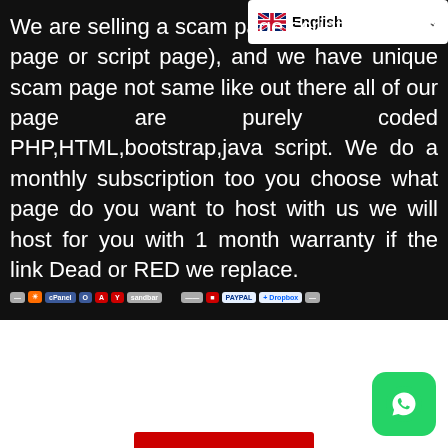English
We are selling a scam page script (phishing page or script page), and we have unique scam page not same like out there all of our page are purely coded PHP,HTML,bootstrap,java script. We do a monthly subscription too you choose what page do you want to host with us we will host for you with 1 month warranty if the link Dead or RED we replace.
[Figure (logo): Row of service/brand logos including cPanel, PayPal, Dropbox and others]
[Figure (logo): WhatsApp circular button icon in green]